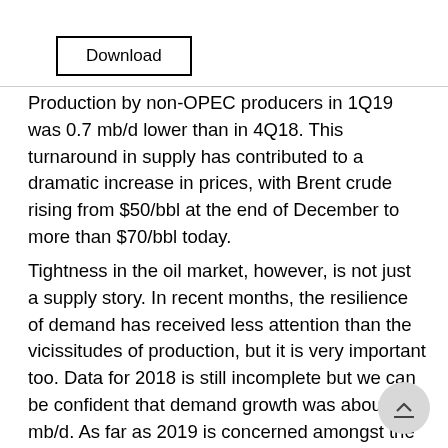[Figure (other): Download button with rectangular border]
Production by non-OPEC producers in 1Q19 was 0.7 mb/d lower than in 4Q18. This turnaround in supply has contributed to a dramatic increase in prices, with Brent crude rising from $50/bbl at the end of December to more than $70/bbl today.
Tightness in the oil market, however, is not just a supply story. In recent months, the resilience of demand has received less attention than the vicissitudes of production, but it is very important too. Data for 2018 is still incomplete but we can be confident that demand growth was about 1.3 mb/d. As far as 2019 is concerned amongst the analyst community there is an extraordinarily wide divergence of view as to